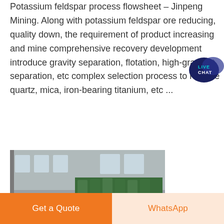Potassium feldspar process flowsheet – Jinpeng Mining. Along with potassium feldspar ore reducing, quality down, the requirement of product increasing and mine comprehensive recovery development introduce gravity separation, flotation, high-gradient separation, etc complex selection process to remove quartz, mica, iron-bearing titanium, etc ...
[Figure (photo): Industrial mineral processing plant interior showing ball mills and spiral classifiers/flotation equipment with green tanks in the background]
Get a Quote
WhatsApp